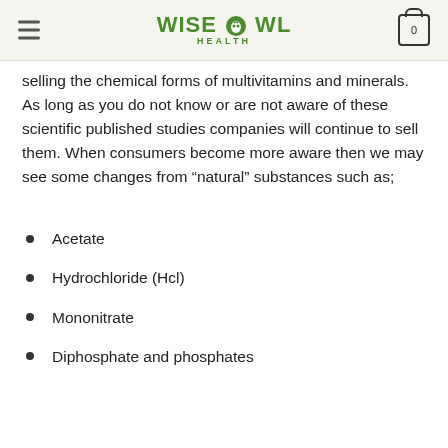WISE OWL HEALTH
selling the chemical forms of multivitamins and minerals. As long as you do not know or are not aware of these scientific published studies companies will continue to sell them. When consumers become more aware then we may see some changes from “natural” substances such as;
Acetate
Hydrochloride (Hcl)
Mononitrate
Diphosphate and phosphates